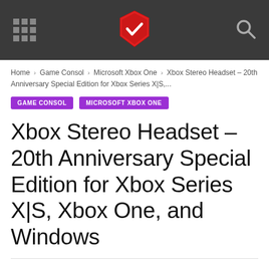Header navigation bar with grid icon, logo, and search icon
Home › Game Consol › Microsoft Xbox One › Xbox Stereo Headset – 20th Anniversary Special Edition for Xbox Series X|S,...
GAME CONSOL
MICROSOFT XBOX ONE
Xbox Stereo Headset – 20th Anniversary Special Edition for Xbox Series X|S, Xbox One, and Windows